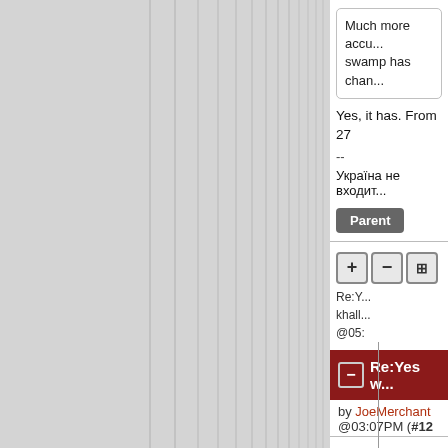[Figure (screenshot): Left panel showing a gray background with vertical column lines, typical of a Slashdot-style comment thread indentation structure.]
Much more accu... swamp has chan...
Yes, it has. From 27
--
Україна не входит...
Parent
Re:Y... khall... @05:
Re:Yes w... by JoeMerchant @03:07PM (#12
The crops are... swamps they... round, the we... minimal cost f... flood-runoff in... shorter timesc... need to altern...